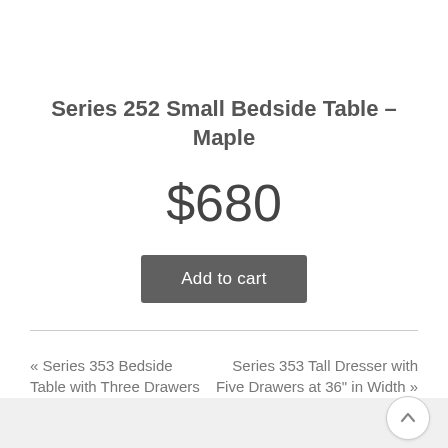Series 252 Small Bedside Table – Maple
$680
Add to cart
« Series 353 Bedside Table with Three Drawers
Series 353 Tall Dresser with Five Drawers at 36" in Width »